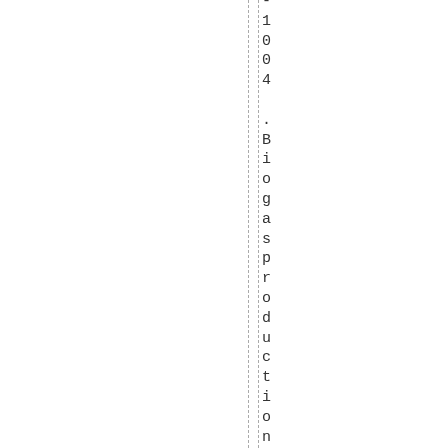-1004 .Biogasproduction .m3 per d